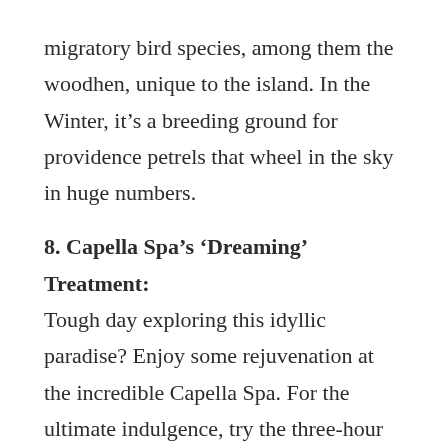migratory bird species, among them the woodhen, unique to the island. In the Winter, it's a breeding ground for providence petrels that wheel in the sky in huge numbers.
8. Capella Spa's 'Dreaming' Treatment:
Tough day exploring this idyllic paradise? Enjoy some rejuvenation at the incredible Capella Spa. For the ultimate indulgence, try the three-hour 'Dreaming' treatment, including everything imaginable to leave you feeling balanced and renewed.